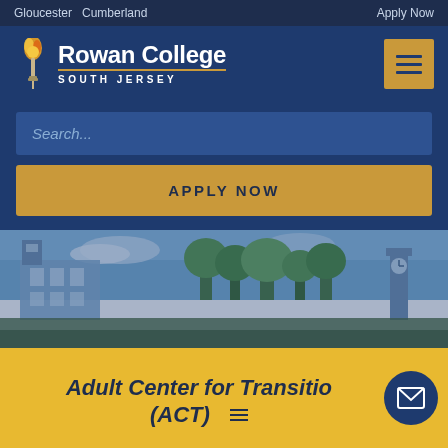Gloucester  Cumberland    Apply Now
[Figure (logo): Rowan College South Jersey logo with flame/torch icon and gold underline]
Search...
APPLY NOW
[Figure (photo): Campus photo showing college buildings, clock tower, and trees with blue sky]
Adult Center for Transition (ACT)